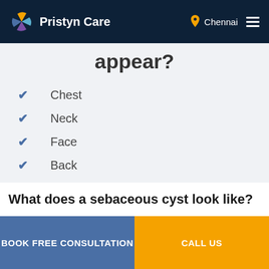Pristyn Care — Chennai
appear?
Chest
Neck
Face
Back
Head
Scalp
What does a sebaceous cyst look like?
BOOK FREE CONSULTATION | CALL US